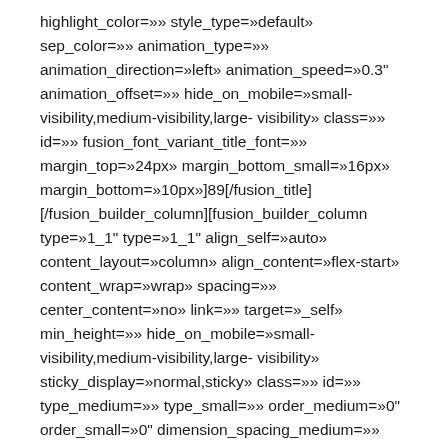highlight_color=»» style_type=»default» sep_color=»» animation_type=»» animation_direction=»left» animation_speed=»0.3" animation_offset=»» hide_on_mobile=»small-visibility,medium-visibility,large-visibility» class=»» id=»» fusion_font_variant_title_font=»» margin_top=»24px» margin_bottom_small=»16px» margin_bottom=»10px»]89[/fusion_title] [/fusion_builder_column][fusion_builder_column type=»1_1" type=»1_1" align_self=»auto» content_layout=»column» align_content=»flex-start» content_wrap=»wrap» spacing=»» center_content=»no» link=»» target=»_self» min_height=»» hide_on_mobile=»small-visibility,medium-visibility,large-visibility» sticky_display=»normal,sticky» class=»» id=»» type_medium=»» type_small=»» order_medium=»0" order_small=»0" dimension_spacing_medium=»» dimension_spacing_small=»» dimension_spacing=»» dimension_margin_medium=»» dimension_margin_small=»» dimension_margin=»»